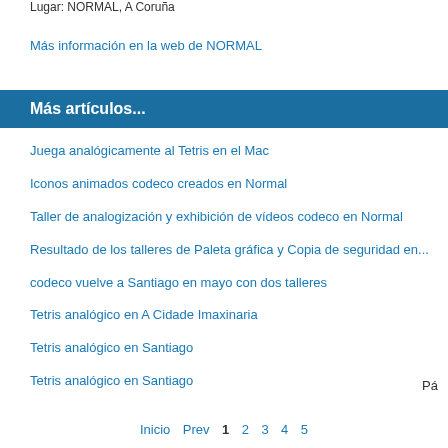Lugar: NORMAL, A Coruña
Más información en la web de NORMAL
Más artículos...
Juega analógicamente al Tetris en el Mac
Iconos animados codeco creados en Normal
Taller de analogización y exhibición de vídeos codeco en Normal
Resultado de los talleres de Paleta gráfica y Copia de seguridad en...
codeco vuelve a Santiago en mayo con dos talleres
Tetris analógico en A Cidade Imaxinaria
Tetris analógico en Santiago
Tetris analógico en Santiago
Pá...
Inicio  Prev  1  2  3  4  5